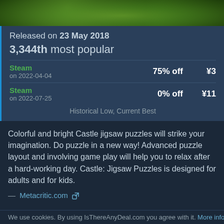[Figure (photo): Green foliage/nature hero image banner at top of page]
Released on 23 May 2018
3,344th most popular
| Store/Date | Discount | Price |
| --- | --- | --- |
| Steam
on 2022-04-04 | 75% off | ¥3 |
| Steam
on 2022-07-25 | 0% off | ¥11 |
Historical Low, Current Best
Colorful and bright Castle jigsaw puzzles will strike your imagination. Do puzzle in a new way! Advanced puzzle layout and involving game play will help you to relax after a hard-working day. Castle: Jigsaw Puzzles is designed for adults and for kids.
— Metacritic.com ↗
Prices   Activation/DRM
| Store | Platforms | Price Cut | Current | Lowest | Rec |
| --- | --- | --- | --- | --- | --- |
We use cookies. By using IsThereAnyDeal.com you agree with it. More info